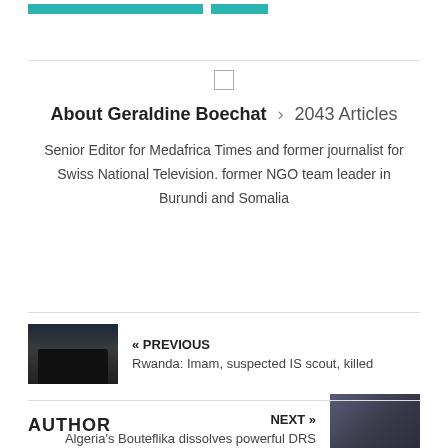[Figure (illustration): Two teal navigation bar segments at the top of the page]
About Geraldine Boechat > 2043 Articles
Senior Editor for Medafrica Times and former journalist for Swiss National Television. former NGO team leader in Burundi and Somalia
[Figure (photo): Dark silhouette photo for previous article: Rwanda Imam]
« PREVIOUS
Rwanda: Imam, suspected IS scout, killed
NEXT »
Algeria's Bouteflika dissolves powerful DRS
[Figure (photo): Photo of person for next article: Algeria's Bouteflika]
AUTHOR